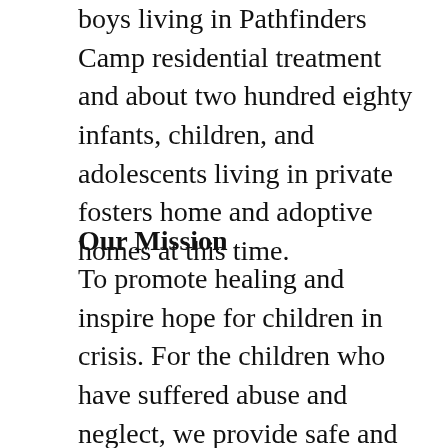boys living in Pathfinders Camp residential treatment and about two hundred eighty infants, children, and adolescents living in private fosters home and adoptive homes at this time.
Our Mission
To promote healing and inspire hope for children in crisis. For the children who have suffered abuse and neglect, we provide safe and loving environments so they may form healthy relationships and look forward to a brighter future.
Our Vision
All children deserve a safe and supportive environment in which to flourish. Our vision is